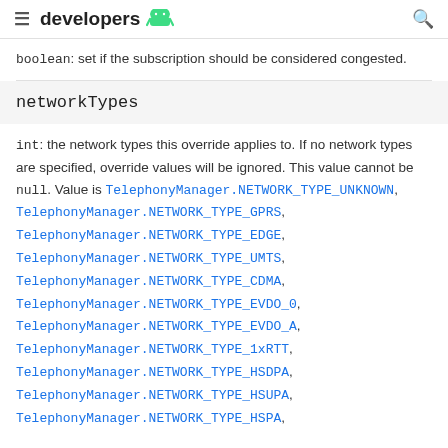≡ developers 🤖 🔍
boolean: set if the subscription should be considered congested.
networkTypes
int: the network types this override applies to. If no network types are specified, override values will be ignored. This value cannot be null. Value is TelephonyManager.NETWORK_TYPE_UNKNOWN, TelephonyManager.NETWORK_TYPE_GPRS, TelephonyManager.NETWORK_TYPE_EDGE, TelephonyManager.NETWORK_TYPE_UMTS, TelephonyManager.NETWORK_TYPE_CDMA, TelephonyManager.NETWORK_TYPE_EVDO_0, TelephonyManager.NETWORK_TYPE_EVDO_A, TelephonyManager.NETWORK_TYPE_1xRTT, TelephonyManager.NETWORK_TYPE_HSDPA, TelephonyManager.NETWORK_TYPE_HSUPA, TelephonyManager.NETWORK_TYPE_HSPA,